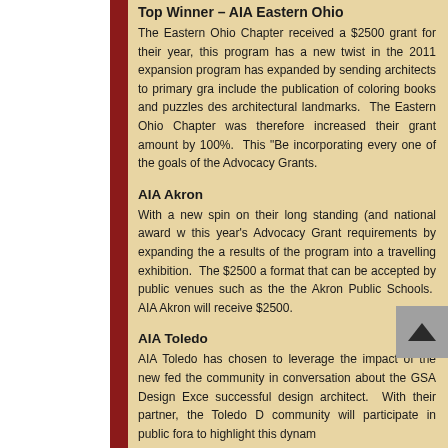Top Winner – AIA Eastern Ohio
The Eastern Ohio Chapter received a $2500 grant for their year, this program has a new twist in the 2011 expansion program has expanded by sending architects to primary gra include the publication of coloring books and puzzles des architectural landmarks. The Eastern Ohio Chapter was therefore increased their grant amount by 100%. This "Be incorporating every one of the goals of the Advocacy Grants.
AIA Akron
With a new spin on their long standing (and national award w this year's Advocacy Grant requirements by expanding the a results of the program into a travelling exhibition. The $2500 a format that can be accepted by public venues such as the the Akron Public Schools. AIA Akron will receive $2500.
AIA Toledo
AIA Toledo has chosen to leverage the impact of the new fed the community in conversation about the GSA Design Exce successful design architect. With their partner, the Toledo D community will participate in public fora to highlight this dynam